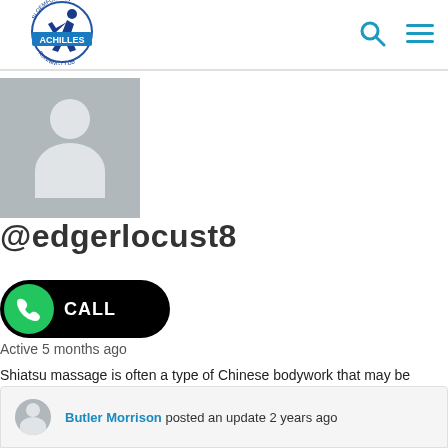[Figure (logo): Bloemfontein Achilles Running Club logo with runner silhouette in blue]
[Figure (illustration): Search icon (magnifying glass) in teal/cyan color]
[Figure (illustration): Hamburger menu icon (three lines) in teal/cyan color]
[Figure (illustration): Gray user profile avatar placeholder image]
@edgerlocust8
[Figure (illustration): Green phone call button overlay with CALL text]
Active 5 months ago
Shiatsu massage is often a type of Chinese bodywork that may be based on ancient Chinese restorative practices. Shiatsu originates from an ancient Offshore massage modality referred to as an. This modality targets on exciting the body through often the use of pressure plus warmth to the epidermis to relieve anxiety, minimize strain and [...] View
[Figure (illustration): Small gray user avatar at bottom]
Butler Morrison posted an update 2 years ago